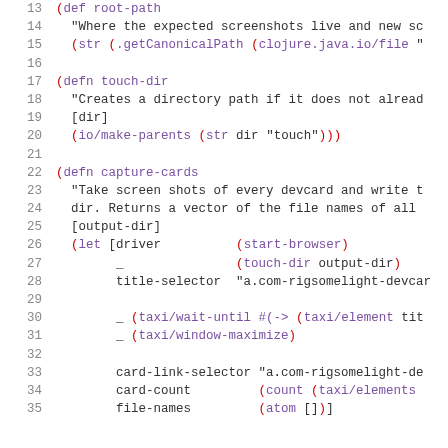[Figure (screenshot): Clojure source code snippet showing lines 13-35. Contains function definitions for root-path, touch-dir, and capture-cards with syntax highlighting in purple/red/black on white background.]